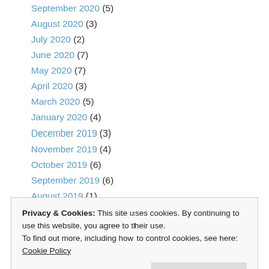September 2020 (5)
August 2020 (3)
July 2020 (2)
June 2020 (7)
May 2020 (7)
April 2020 (3)
March 2020 (5)
January 2020 (4)
December 2019 (3)
November 2019 (4)
October 2019 (6)
September 2019 (6)
August 2019 (1)
Privacy & Cookies: This site uses cookies. By continuing to use this website, you agree to their use. To find out more, including how to control cookies, see here: Cookie Policy